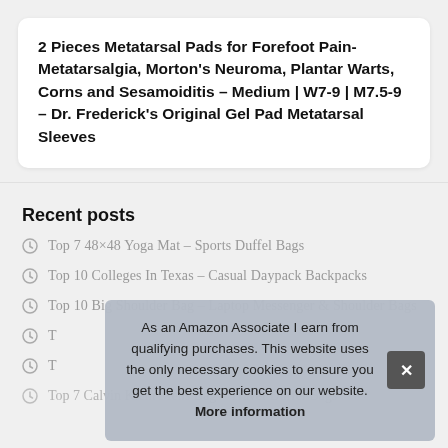2 Pieces Metatarsal Pads for Forefoot Pain-Metatarsalgia, Morton's Neuroma, Plantar Warts, Corns and Sesamoiditis – Medium | W7-9 | M7.5-9 – Dr. Frederick's Original Gel Pad Metatarsal Sleeves
Recent posts
Top 7 48×48 Yoga Mat – Sports Duffel Bags
Top 10 Colleges In Texas – Casual Daypack Backpacks
Top 10 Big Shoulder Bag – Laptop Messenger & Shoulder Bags
T…
T…
Top 7 Calvin Klein Mens Bag – Travel Duffel Bags
As an Amazon Associate I earn from qualifying purchases. This website uses the only necessary cookies to ensure you get the best experience on our website. More information